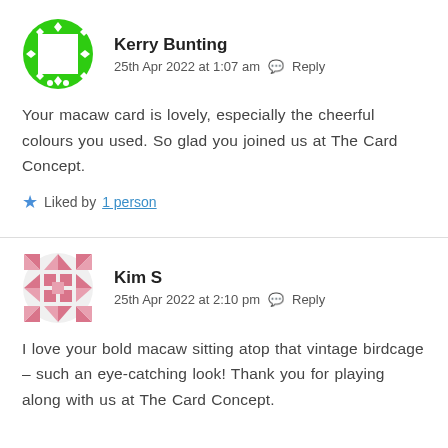[Figure (illustration): Green circular avatar with decorative diamond/dot pattern border and white square in the center]
Kerry Bunting
25th Apr 2022 at 1:07 am  Reply
Your macaw card is lovely, especially the cheerful colours you used. So glad you joined us at The Card Concept.
Liked by 1 person
[Figure (illustration): Pink/rose circular avatar with geometric diamond and square quilt pattern]
Kim S
25th Apr 2022 at 2:10 pm  Reply
I love your bold macaw sitting atop that vintage birdcage – such an eye-catching look! Thank you for playing along with us at The Card Concept.